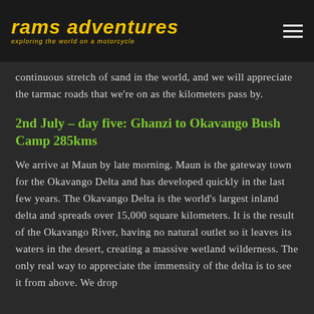rams adventures — exploring the world on a motorcycle
continuous stretch of sand in the world, and we will appreciate the tarmac roads that we're on as the kilometers pass by.
2nd July – day five: Ghanzi to Okavango Bush Camp 285kms
We arrive at Maun by late morning. Maun is the gateway town for the Okavango Delta and has developed quickly in the last few years. The Okavango Delta is the world's largest inland delta and spreads over 15,000 square kilometers. It is the result of the Okavango River, having no natural outlet so it leaves its waters in the desert, creating a massive wetland wilderness. The only real way to appreciate the immensity of the delta is to see it from above. We drop